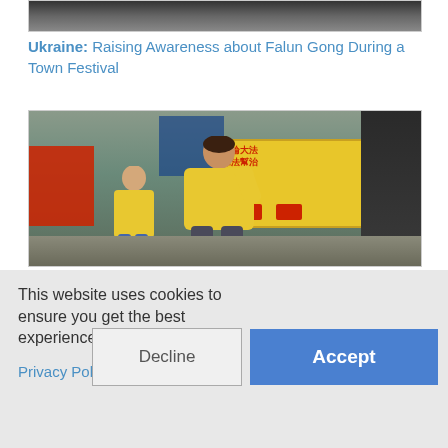[Figure (photo): Partial top of an image showing dark figures, cropped at top of page]
Ukraine: Raising Awareness about Falun Gong During a Town Festival
[Figure (photo): Outdoor town festival scene showing people in yellow t-shirts performing Falun Gong exercises, with a yellow banner with red Chinese characters, red structures on the left, and dark-clothed bystanders on the right]
This website uses cookies to ensure you get the best experience on our website.
Privacy Policy
Decline
Accept